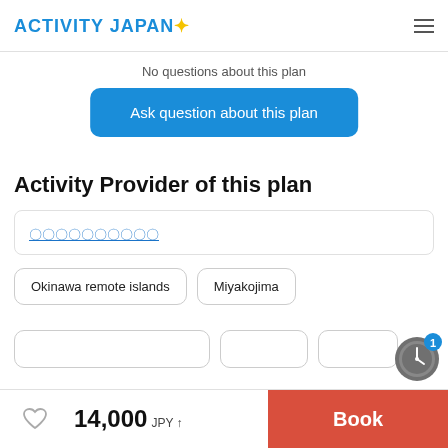Activity Japan [logo]
No questions about this plan
Ask question about this plan
Activity Provider of this plan
〇〇〇〇〇〇〇〇〇〇
Okinawa remote islands
Miyakojima
14,000 JPY ↑  Book